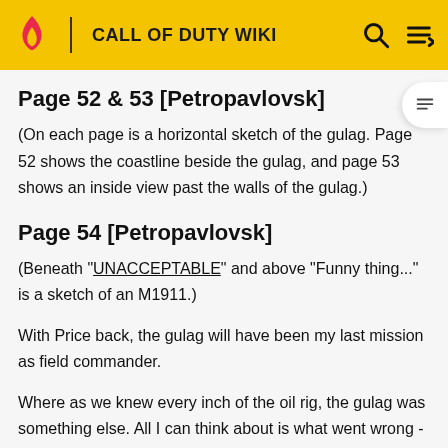CALL OF DUTY WIKI
Page 52 & 53 [Petropavlovsk]
(On each page is a horizontal sketch of the gulag. Page 52 shows the coastline beside the gulag, and page 53 shows an inside view past the walls of the gulag.)
Page 54 [Petropavlovsk]
(Beneath "UNACCEPTABLE" and above "Funny thing..." is a sketch of an M1911.)
With Price back, the gulag will have been my last mission as field commander.
Where as we knew every inch of the oil rig, the gulag was something else. All I can think about is what went wrong -